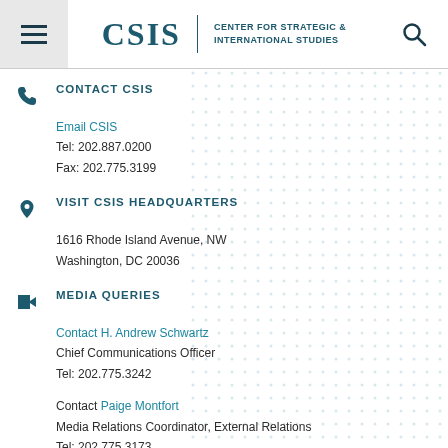CSIS | CENTER FOR STRATEGIC & INTERNATIONAL STUDIES
CONTACT CSIS
Email CSIS
Tel: 202.887.0200
Fax: 202.775.3199
VISIT CSIS HEADQUARTERS
1616 Rhode Island Avenue, NW
Washington, DC 20036
MEDIA QUERIES
Contact H. Andrew Schwartz
Chief Communications Officer
Tel: 202.775.3242
Contact Paige Montfort
Media Relations Coordinator, External Relations
Tel: 202.775.3173
DAILY UPDATES